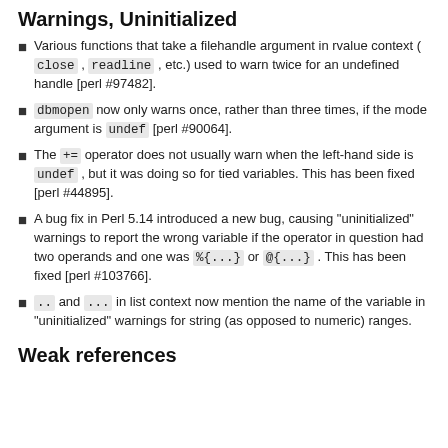Warnings, Uninitialized
Various functions that take a filehandle argument in rvalue context ( close , readline , etc.) used to warn twice for an undefined handle [perl #97482].
dbmopen now only warns once, rather than three times, if the mode argument is undef [perl #90064].
The += operator does not usually warn when the left-hand side is undef , but it was doing so for tied variables. This has been fixed [perl #44895].
A bug fix in Perl 5.14 introduced a new bug, causing "uninitialized" warnings to report the wrong variable if the operator in question had two operands and one was %{...} or @{...} . This has been fixed [perl #103766].
.. and ... in list context now mention the name of the variable in "uninitialized" warnings for string (as opposed to numeric) ranges.
Weak references